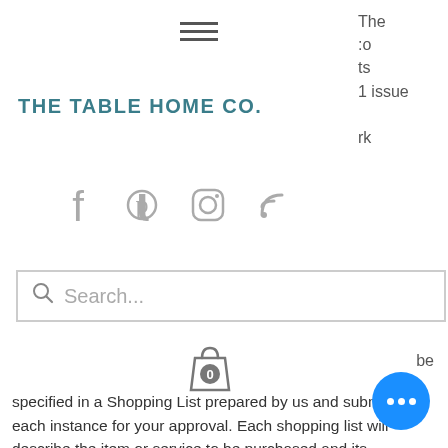[Figure (screenshot): Hamburger menu icon (three horizontal lines)]
THE TABLE HOME CO.
The
:o
ts
1 issue

rk
[Figure (infographic): Social media icons: Facebook, Pinterest, Instagram, RSS feed]
[Figure (screenshot): Search bar with placeholder text 'Search...']
[Figure (screenshot): Shopping cart icon with badge showing 0]
be
specified in a Shopping List prepared by us and submitted in each instance for your approval. Each shopping list will describe the item or service to be purchased and its "Specified Price" to you.
PRODUCT PRICING AND ORDERING
The "Specified Price" of each item Merchandise and Decorative Installations shall be the retail cost the item or service
[Figure (illustration): Blue circular chat/messaging button with three white dots]